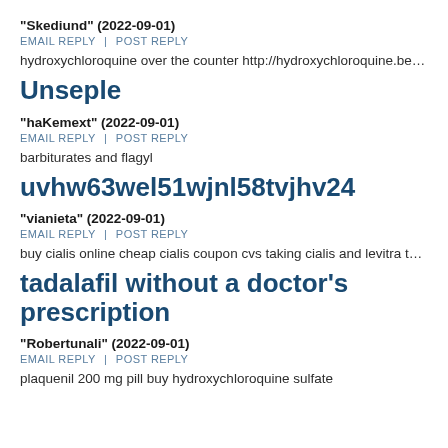"Skediund" (2022-09-01)
EMAIL REPLY  |  POST REPLY
hydroxychloroquine over the counter http://hydroxychloroquine.beauty
Unseple
"haKemext" (2022-09-01)
EMAIL REPLY  |  POST REPLY
barbiturates and flagyl
uvhw63wel51wjnl58tvjhv24
"vianieta" (2022-09-01)
EMAIL REPLY  |  POST REPLY
buy cialis online cheap cialis coupon cvs taking cialis and levitra together
tadalafil without a doctor's prescription
"Robertunali" (2022-09-01)
EMAIL REPLY  |  POST REPLY
plaquenil 200 mg pill buy hydroxychloroquine sulfate